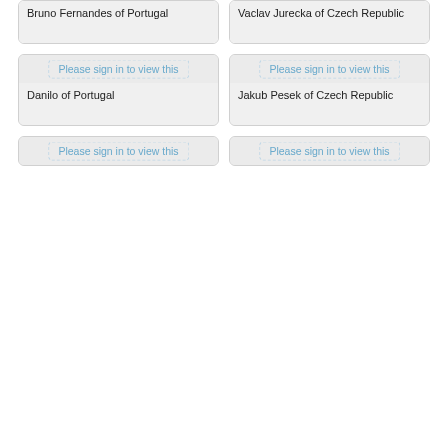[Figure (photo): Partially visible player card for Bruno Fernandes of Portugal]
Bruno Fernandes of Portugal
[Figure (photo): Partially visible player card for Vaclav Jurecka of Czech Republic]
Vaclav Jurecka of Czech Republic
[Figure (photo): Player card with sign-in required message for Danilo of Portugal]
Please sign in to view this
Danilo of Portugal
[Figure (photo): Player card with sign-in required message for Jakub Pesek of Czech Republic]
Please sign in to view this
Jakub Pesek of Czech Republic
[Figure (photo): Partially visible player card with sign-in required, bottom row left]
Please sign in to view this
[Figure (photo): Partially visible player card with sign-in required, bottom row right]
Please sign in to view this